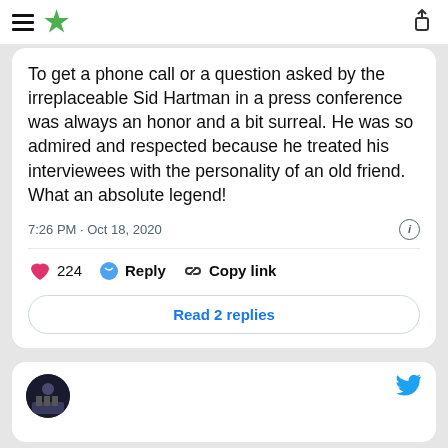Header bar with hamburger menu, star logo, and share icon
To get a phone call or a question asked by the irreplaceable Sid Hartman in a press conference was always an honor and a bit surreal. He was so admired and respected because he treated his interviewees with the personality of an old friend. What an absolute legend!
7:26 PM · Oct 18, 2020
224  Reply  Copy link
Read 2 replies